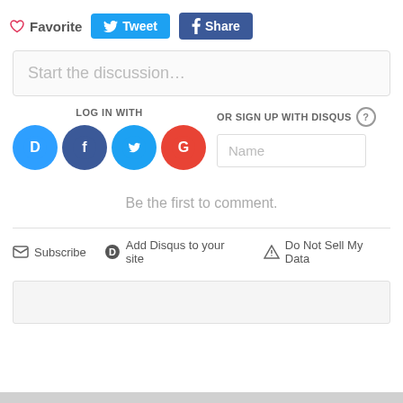♡ Favorite  Tweet  Share
Start the discussion…
LOG IN WITH
OR SIGN UP WITH DISQUS ?
Name
Be the first to comment.
Subscribe  Add Disqus to your site  Do Not Sell My Data